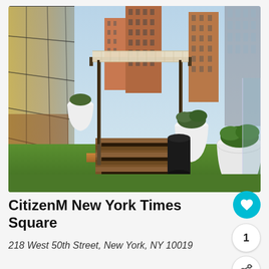[Figure (photo): Rooftop terrace of CitizenM New York Times Square hotel, showing a pergola structure with a canopy over wooden decking on artificial grass, large white planter pots with greenery, black cylindrical planter, glass-walled interior visible on the left, and Manhattan skyline with brick buildings in the background under a blue sky.]
CitizenM New York Times Square
218 West 50th Street, New York, NY 10019